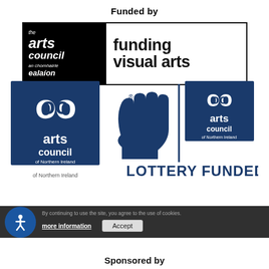Funded by
[Figure (logo): The Arts Council / An Chomhairle Ealaíon logo — black left panel with white italic text 'the arts council an chomhairle ealaíon', right white panel with bold black text 'funding visual arts']
[Figure (logo): Arts Council of Northern Ireland logo (navy blue spiral/eye symbol with 'arts council of Northern Ireland' text) on the left. National Lottery Funded logo in the centre (blue lucky hand symbol with registered mark and vertical divider, then smaller Arts Council of Northern Ireland logo). 'LOTTERY FUNDED' in large navy text below.]
[Figure (screenshot): Cookie consent banner: dark background bar with text 'By continuing to use the site, you agree to the use of cookies.' and buttons 'more information' and 'Accept'. Blue circular accessibility icon on the left.]
Sponsored by